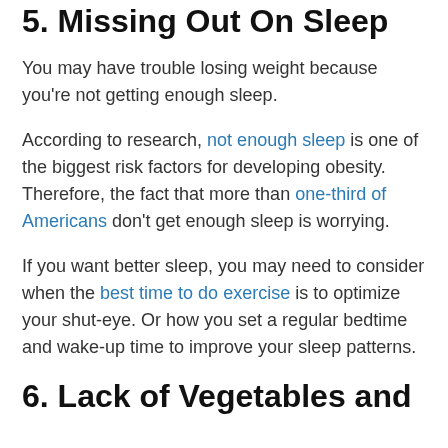5. Missing Out On Sleep
You may have trouble losing weight because you're not getting enough sleep.
According to research, not enough sleep is one of the biggest risk factors for developing obesity. Therefore, the fact that more than one-third of Americans don't get enough sleep is worrying.
If you want better sleep, you may need to consider when the best time to do exercise is to optimize your shut-eye. Or how you set a regular bedtime and wake-up time to improve your sleep patterns.
6. Lack of Vegetables and